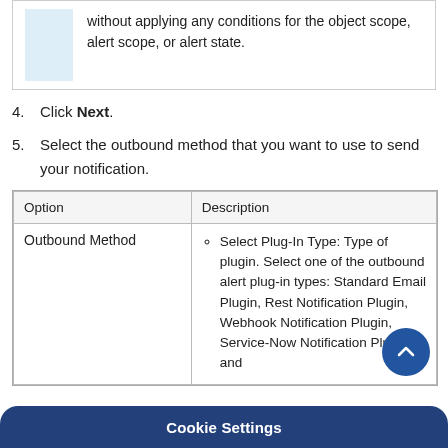without applying any conditions for the object scope, alert scope, or alert state.
4. Click Next.
5. Select the outbound method that you want to use to send your notification.
| Option | Description |
| --- | --- |
| Outbound Method | Select Plug-In Type: Type of plugin. Select one of the outbound alert plug-in types: Standard Email Plugin, Rest Notification Plugin, Webhook Notification Plugin, Service-Now Notification Plugin, and |